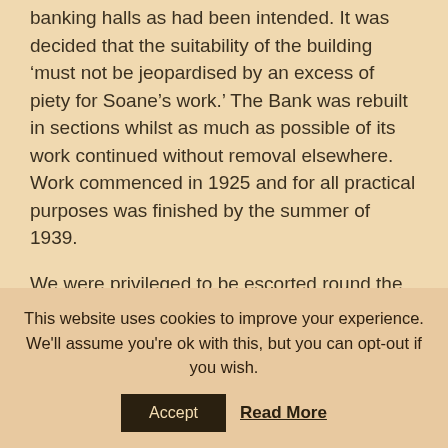banking halls as had been intended. It was decided that the suitability of the building ‘must not be jeopardised by an excess of piety for Soane’s work.’ The Bank was rebuilt in sections whilst as much as possible of its work continued without removal elsewhere. Work commenced in 1925 and for all practical purposes was finished by the summer of 1939.
We were privileged to be escorted round the Bank by a guide who was at once knowledgeable, charming and enthusiastic: a winning combination. Amongst many fine rooms we were shown the Committee Room, where interest rate decisions are made, and the Court Room, still used by the Court (board) of Directors. Both were originally designed by Sir Robert Taylor and moved from the ground floor to their present location by
This website uses cookies to improve your experience. We'll assume you're ok with this, but you can opt-out if you wish.